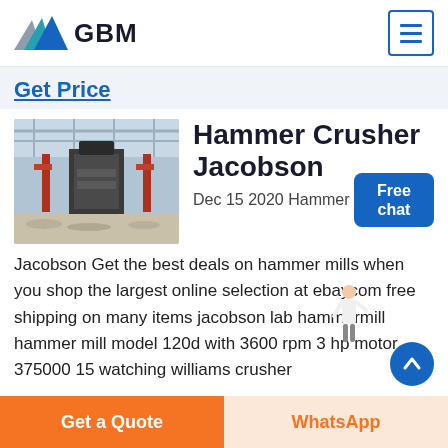GBM
Get Price
[Figure (photo): Industrial hammer crusher / hammer mill machinery inside a factory or workshop building]
Hammer Crusher Jacobson
Dec 15 2020  Hammer Crusher Jacobson Get the best deals on hammer mills when you shop the largest online selection at ebaycom free shipping on many items jacobson lab hammermill hammer mill model 120d with 3600 rpm 3 hp motor 375000 15 watching williams crusher